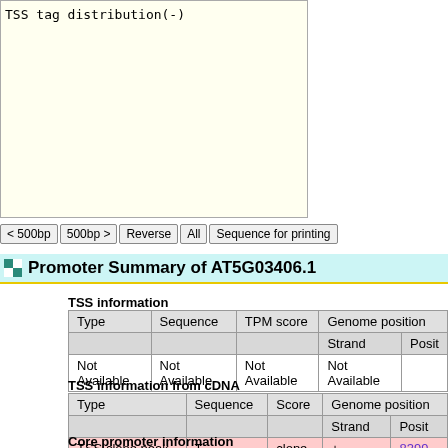[Figure (other): TSS tag distribution(-) plot area, light yellow background box with label at top]
< 500bp  500bp >  Reverse  All  Sequence for printing
Promoter Summary of AT5G03406.1
TSS information
| Type | Sequence | TPM score | Genome position |  |
| --- | --- | --- | --- | --- |
|  |  |  | Strand | Posit |
| Not Available | Not Available | Not Available | Not Available |  |
TSS information from cDNA
| Type | Sequence | Score | Genome position |  |
| --- | --- | --- | --- | --- |
|  |  |  | Strand | Posit |
| TSS clone peak | T | clone | + | 8399 |
Core promoter information